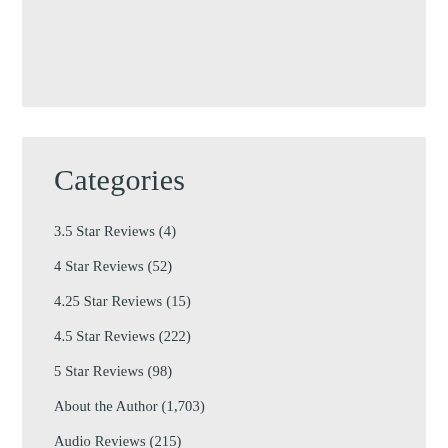[Figure (other): Gray placeholder image box at top of page]
Categories
3.5 Star Reviews (4)
4 Star Reviews (52)
4.25 Star Reviews (15)
4.5 Star Reviews (222)
5 Star Reviews (98)
About the Author (1,703)
Audio Reviews (215)